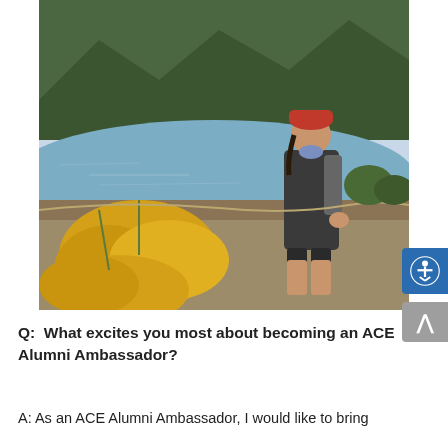[Figure (photo): A young woman wearing a red cap, dark jacket, and shorts standing near a lake with yellow wildflowers in the foreground and pine-covered mountains in the background. She is wearing a backpack and smiling.]
Q:  What excites you most about becoming an ACE Alumni Ambassador?
A: As an ACE Alumni Ambassador, I would like to bring